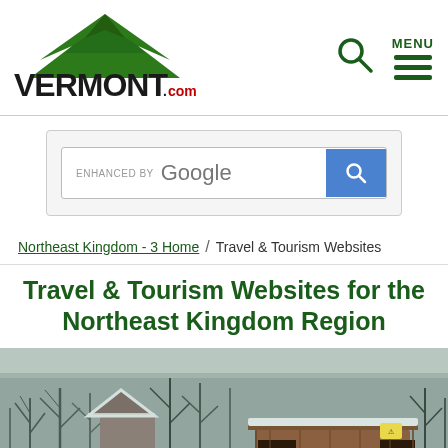VERMONT.com — MENU (navigation header with logo, search icon, and hamburger menu)
[Figure (screenshot): Vermont.com logo with green mountain silhouette above the text VERMONT with a red dot and .com]
[Figure (screenshot): Google enhanced search bar with blue search button]
Northeast Kingdom - 3 Home / Travel & Tourism Websites
Travel & Tourism Websites for the Northeast Kingdom Region
[Figure (photo): Winter scene with snow-covered trees and a covered wooden bridge in the Northeast Kingdom region of Vermont]